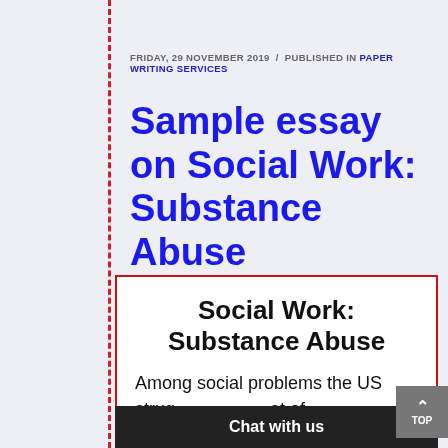FRIDAY, 29 NOVEMBER 2019 / PUBLISHED IN PAPER WRITING SERVICES
Sample essay on Social Work: Substance Abuse
Social Work: Substance Abuse
Among social problems the US strug... at of